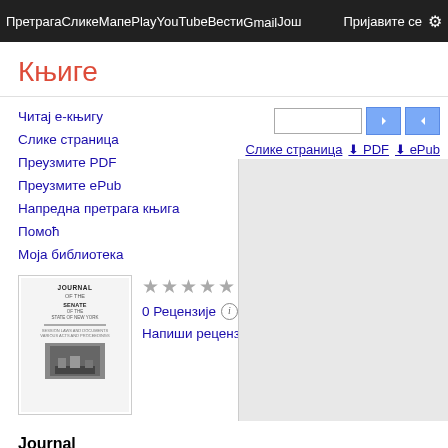Претрага Слике Мапе Play YouTube Вести Gmail Још Пријавите се ⚙
Књиге
Читај е-књигу
Слике страница
Преузмите PDF
Преузмите ePub
Напредна претрага књига
Помоћ
Моја библиотека
[Figure (other): Book cover thumbnail for Journal by New York (State) Legislature Senate]
0 Рецензије
Напиши рецензију
Journal
Аутор: New York (State). Legislature. Senate